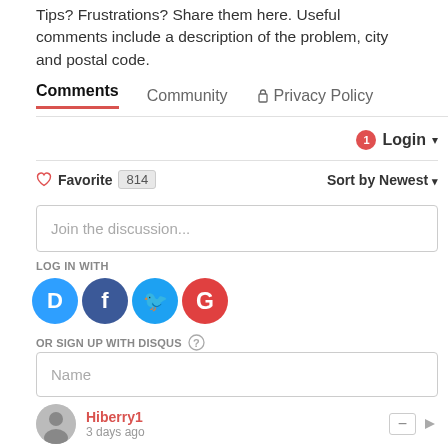Tips? Frustrations? Share them here. Useful comments include a description of the problem, city and postal code.
Comments   Community   Privacy Policy
Login ▾
♡ Favorite  814   Sort by Newest ▾
Join the discussion...
LOG IN WITH
[Figure (infographic): Social login icons: Disqus (blue speech bubble with D), Facebook (dark blue circle with f), Twitter (cyan circle with bird), Google (red circle with G)]
OR SIGN UP WITH DISQUS ?
Name
Hiberry1
3 days ago